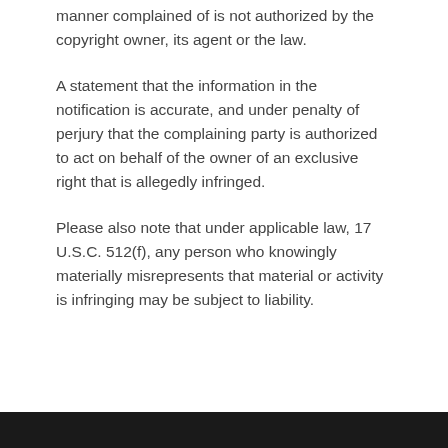manner complained of is not authorized by the copyright owner, its agent or the law.
A statement that the information in the notification is accurate, and under penalty of perjury that the complaining party is authorized to act on behalf of the owner of an exclusive right that is allegedly infringed.
Please also note that under applicable law, 17 U.S.C. 512(f), any person who knowingly materially misrepresents that material or activity is infringing may be subject to liability.